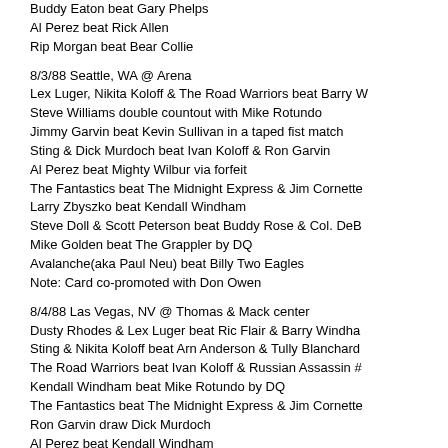Buddy Eaton beat Gary Phelps
Al Perez beat Rick Allen
Rip Morgan beat Bear Collie
8/3/88 Seattle, WA @ Arena
Lex Luger, Nikita Koloff & The Road Warriors beat Barry W
Steve Williams double countout with Mike Rotundo
Jimmy Garvin beat Kevin Sullivan in a taped fist match
Sting & Dick Murdoch beat Ivan Koloff & Ron Garvin
Al Perez beat Mighty Wilbur via forfeit
The Fantastics beat The Midnight Express & Jim Cornette
Larry Zbyszko beat Kendall Windham
Steve Doll & Scott Peterson beat Buddy Rose & Col. DeB
Mike Golden beat The Grappler by DQ
Avalanche(aka Paul Neu) beat Billy Two Eagles
Note:  Card co-promoted with Don Owen
8/4/88 Las Vegas, NV @ Thomas & Mack center
Dusty Rhodes & Lex Luger beat Ric Flair & Barry Windha
Sting & Nikita Koloff beat Arn Anderson & Tully Blanchard
The Road Warriors beat Ivan Koloff & Russian Assassin #
Kendall Windham beat Mike Rotundo by DQ
The Fantastics beat The Midnight Express & Jim Cornette
Ron Garvin draw Dick Murdoch
Al Perez beat Kendall Windham
Jimmy Garvin beat Larry Zbyszko
8/5/88 Inglewood, CA @ The Forum
Dusty Rhodes, Lex Luger, The Road Warriors & Paul Elle
The Fantastics beat The Midnight Express & Jim Cornette
Nikita Koloff beat Al Perez in a chain match
Steve Williams beat Rick Steiner
Sting beat Mike Rotundo by DQ
Dick Murdoch beat Larry Zbyszko
Jimmy Garvin beat Kevin Sullivan
Rick Steiner beat Mike Starr
Ron Garvin beat Riki Ataki